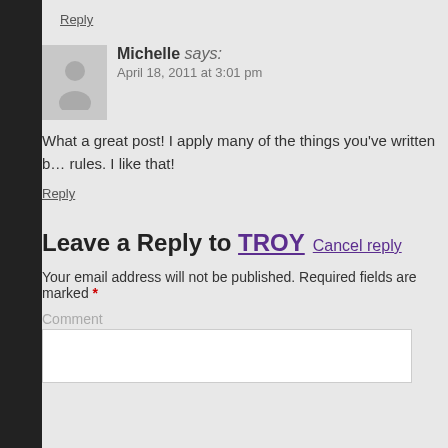Reply
Michelle says: April 18, 2011 at 3:01 pm
What a great post! I apply many of the things you've written b… rules. I like that!
Reply
Leave a Reply to TROY Cancel reply
Your email address will not be published. Required fields are marked *
Comment